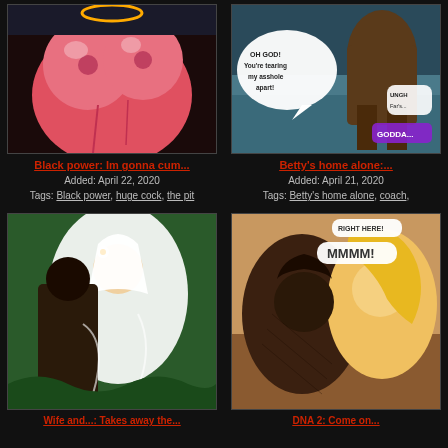[Figure (illustration): Adult comic thumbnail - pink figure, top left]
Black power: Im gonna cum...
Added: April 22, 2020
Tags: Black power, huge cock, the pit
[Figure (illustration): Adult comic thumbnail - figures on couch, top right]
Betty's home alone:...
Added: April 21, 2020
Tags: Betty's home alone, coach,
[Figure (illustration): Adult comic thumbnail - bride scene, bottom left]
Wife and...: Takes away the...
[Figure (illustration): Adult comic thumbnail - kissing scene with speech bubble RIGHT HERE! MMMM!, bottom right]
DNA 2: Come on...